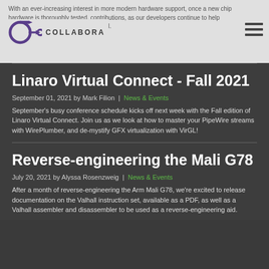With an ever-increasing interest in more modern hardware support, once a new chip hardware is thoroughly tested, contributions, as our developers continue to help make this a reality for the Linux kernel.
[Figure (logo): Collabora logo with circular arrow icon and COLLABORA text]
Linaro Virtual Connect - Fall 2021
September 01, 2021 by Mark Filion | News & Events
September's busy conference schedule kicks off next week with the Fall edition of Linaro Virtual Connect. Join us as we look at how to master your PipeWire streams with WirePlumber, and de-mystify GFX virtualization with VirGL!
Reverse-engineering the Mali G78
July 20, 2021 by Alyssa Rosenzweig | News & Events
After a month of reverse-engineering the Arm Mali G78, we're excited to release documentation on the Valhall instruction set, available as a PDF, as well as a Valhall assembler and disassembler to be used as a reverse-engineering aid.